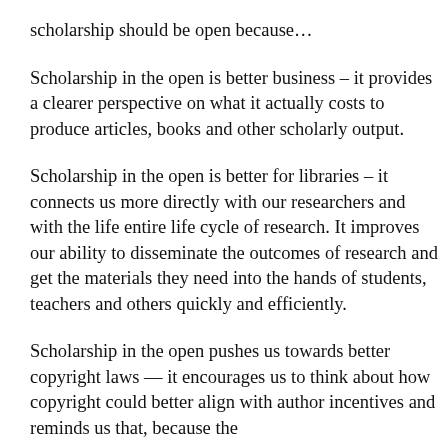scholarship should be open because…
Scholarship in the open is better business – it provides a clearer perspective on what it actually costs to produce articles, books and other scholarly output.
Scholarship in the open is better for libraries – it connects us more directly with our researchers and with the life entire life cycle of research. It improves our ability to disseminate the outcomes of research and get the materials they need into the hands of students, teachers and others quickly and efficiently.
Scholarship in the open pushes us towards better copyright laws — it encourages us to think about how copyright could better align with author incentives and reminds us that, because the